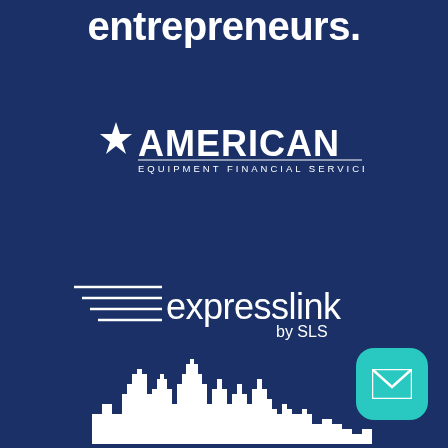entrepreneurs.
[Figure (logo): American Equipment Financial Services logo — white star and bold white text AMERICAN with subtitle EQUIPMENT FINANCIAL SERVICES on dark blue background]
[Figure (logo): Expresslink by SLS logo — horizontal speed-line graphic with text 'expresslink by SLS' in white on dark blue background]
[Figure (illustration): White city skyline silhouette at bottom of page]
[Figure (other): Teal rounded square email/envelope button icon in bottom right corner]